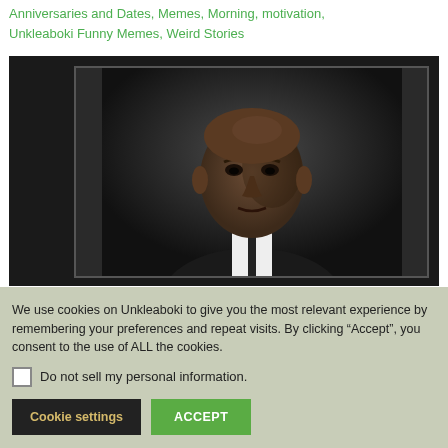Anniversaries and Dates, Memes, Morning, motivation, Unkleaboki Funny Memes, Weird Stories
[Figure (photo): A serious-looking bald Black man in a dark suit with a tie, photographed against a dark grey background, framed within a grey border. The image has a dramatic, cinematic look.]
We use cookies on Unkleaboki to give you the most relevant experience by remembering your preferences and repeat visits. By clicking “Accept”, you consent to the use of ALL the cookies.
Do not sell my personal information.
Cookie settings
ACCEPT